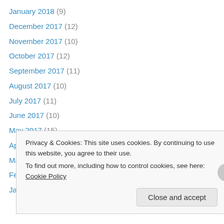January 2018 (9)
December 2017 (12)
November 2017 (10)
October 2017 (12)
September 2017 (11)
August 2017 (10)
July 2017 (11)
June 2017 (10)
May 2017 (15)
April 2017 (15)
March 2017 (19)
February 2017 (18)
January 2017 (18)
Privacy & Cookies: This site uses cookies. By continuing to use this website, you agree to their use. To find out more, including how to control cookies, see here: Cookie Policy